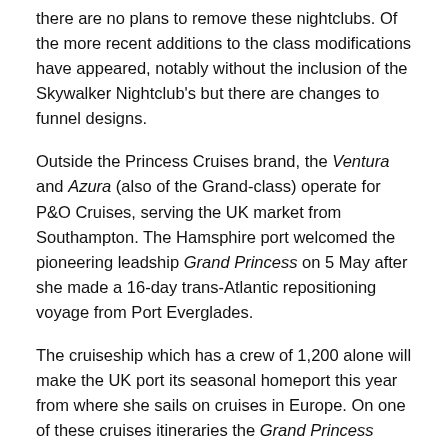there are no plans to remove these nightclubs. Of the more recent additions to the class modifications have appeared, notably without the inclusion of the Skywalker Nightclub's but there are changes to funnel designs.
Outside the Princess Cruises brand, the Ventura and Azura (also of the Grand-class) operate for P&O Cruises, serving the UK market from Southampton. The Hamsphire port welcomed the pioneering leadship Grand Princess on 5 May after she made a 16-day trans-Atlantic repositioning voyage from Port Everglades.
The cruiseship which has a crew of 1,200 alone will make the UK port its seasonal homeport this year from where she sails on cruises in Europe. On one of these cruises itineraries the Grand Princess (290m long x 36 beam X 8.5m draft) included a visit to the Port of Cork today. You can monitor the ship from Cobh Cruise Terminal via the 'live' bridge web-cam, noting the vessel is due to depart at 18.00 this evening bound for Dublin Port.